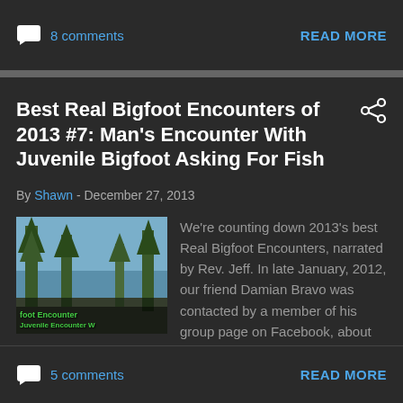8 comments   READ MORE
Best Real Bigfoot Encounters of 2013 #7: Man's Encounter With Juvenile Bigfoot Asking For Fish
By Shawn - December 27, 2013
[Figure (photo): Thumbnail image showing trees near a lake with green text overlay reading 'foot Encounter Juvenile Encounter W']
We're counting down 2013's best Real Bigfoot Encounters, narrated by Rev. Jeff. In late January, 2012, our friend Damian Bravo was contacted by a member of his group page on Facebook, about an amazing ...
5 comments   READ MORE